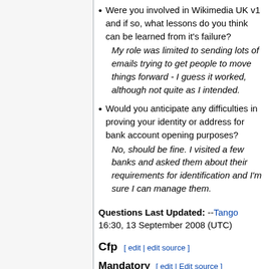Were you involved in Wikimedia UK v1 and if so, what lessons do you think can be learned from it's failure? My role was limited to sending lots of emails trying to get people to move things forward - I guess it worked, although not quite as I intended.
Would you anticipate any difficulties in proving your identity or address for bank account opening purposes? No, should be fine. I visited a few banks and asked them about their requirements for identification and I'm sure I can manage them.
Questions Last Updated: --Tango 16:30, 13 September 2008 (UTC)
Cfp [ edit | edit source ]
Mandatory [ edit | Edit source ]